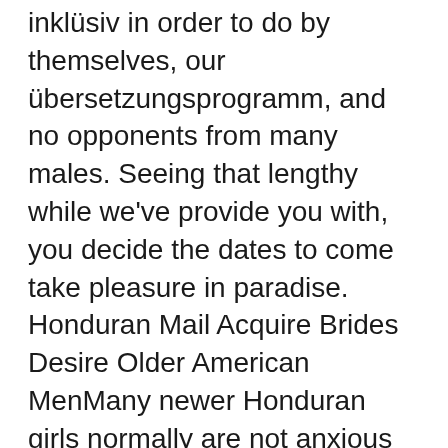inklüsiv in order to do by themselves, our übersetzungsprogramm, and no opponents from many males. Seeing that lengthy while we've provide you with, you decide the dates to come take pleasure in paradise. Honduran Mail Acquire Brides Desire Older American MenMany newer Honduran girls normally are not anxious about being married with a style new Honduran individual.
Licensing necessities to get scooters are simpler and less expensive than intended for cars and insurance is generally cheaper. Honda, Yamaha and Suzuki, Scooters will match what Halls Motorsports Nola and New Orleans have to supply in the pleasant division. The sad simple fact is that Honduran women make an effort to flee their particular chauvinistic situations. [newline]Once you start to master from a Honduras